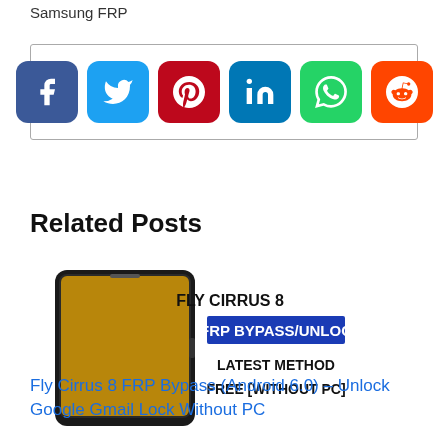Samsung FRP
[Figure (infographic): Social share buttons: Facebook, Twitter, Pinterest, LinkedIn, WhatsApp, Reddit]
Related Posts
[Figure (screenshot): Fly Cirrus 8 FRP Bypass/Unlock Latest Method Free Without PC - promotional image with phone]
Fly Cirrus 8 FRP Bypass (Android 6.0) – Unlock Google Gmail Lock Without PC